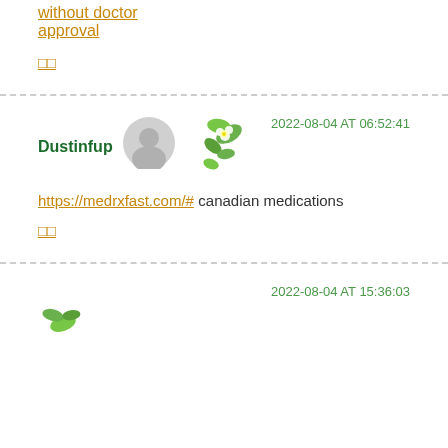without doctor approval
□□
2022-08-04 AT 06:52:41
Dustinfup
https://medrxfast.com/# canadian medications
□□
2022-08-04 AT 15:36:03